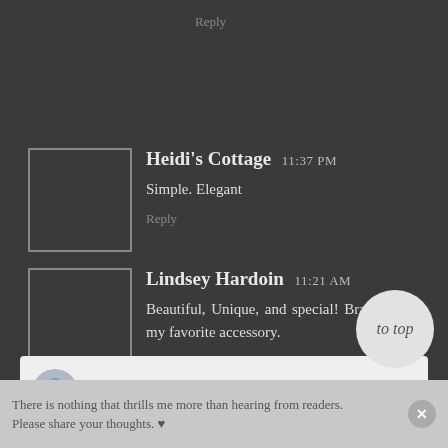Reply
Heidi's Cottage 11:37 PM
Simple. Elegant
Reply
Lindsey Hardoin 11:21 AM
Beautiful, Unique, and special! Bracelets are my favorite accessory.
Reply
Enter Comment
to top
There is nothing that thrills me more than hearing from readers. Please share your thoughts. ♥